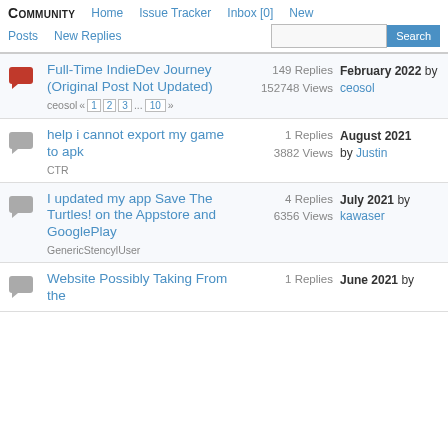COMMUNITY | Home | Issue Tracker | Inbox [0] | New | Posts | New Replies | Search
Full-Time IndieDev Journey (Original Post Not Updated) — ceosol « 1 2 3 ... 10 » — 149 Replies, 152748 Views — February 2022 by ceosol
help i cannot export my game to apk — CTR — 1 Replies, 3882 Views — August 2021 by Justin
I updated my app Save The Turtles! on the Appstore and GooglePlay — GenericStencylUser — 4 Replies, 6356 Views — July 2021 by kawaser
Website Possibly Taking From the — 1 Replies — June 2021 by